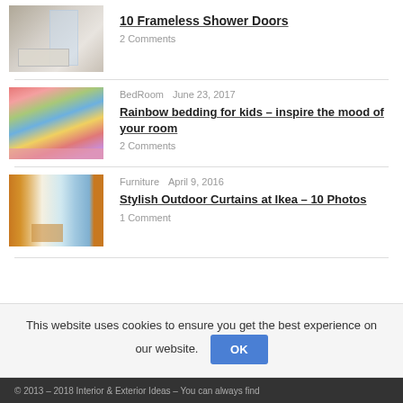[Figure (photo): Thumbnail of frameless shower door bathroom]
10 Frameless Shower Doors
2 Comments
[Figure (photo): Thumbnail of colorful rainbow bedding]
BedRoom   June 23, 2017
Rainbow bedding for kids – inspire the mood of your room
2 Comments
[Figure (photo): Thumbnail of outdoor curtains at Ikea]
Furniture   April 9, 2016
Stylish Outdoor Curtains at Ikea – 10 Photos
1 Comment
This website uses cookies to ensure you get the best experience on our website.
© 2013 – 2018 Interior & Exterior Ideas – You can always find